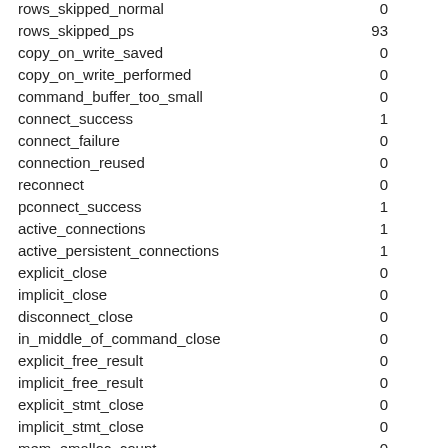| Variable | Value |
| --- | --- |
| rows_skipped_normal | 0 |
| rows_skipped_ps | 93 |
| copy_on_write_saved | 0 |
| copy_on_write_performed | 0 |
| command_buffer_too_small | 0 |
| connect_success | 1 |
| connect_failure | 0 |
| connection_reused | 0 |
| reconnect | 0 |
| pconnect_success | 1 |
| active_connections | 1 |
| active_persistent_connections | 1 |
| explicit_close | 0 |
| implicit_close | 0 |
| disconnect_close | 0 |
| in_middle_of_command_close | 0 |
| explicit_free_result | 0 |
| implicit_free_result | 0 |
| explicit_stmt_close | 0 |
| implicit_stmt_close | 0 |
| mem_emalloc_count | 0 |